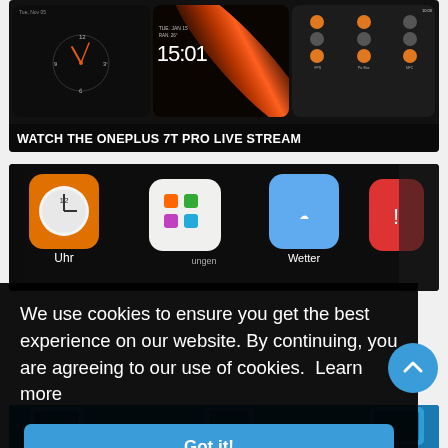[Figure (screenshot): Three smartphone screens showing OnePlus 7T Pro UI: left screen shows an analog clock face with orange hands on dark background, middle screen shows time 15:01 with a red-orange diagonal light streak, right screen shows quick settings panel with orange circular toggle buttons. Bold white text at bottom reads WATCH THE ONEPLUS 7T PRO LIVE STREAM]
[Figure (photo): Close-up photo of a smartphone screen showing app icons including Weather (Uhr), a white rounded square icon with colored dots, and other colorful app icons on dark background, partially obscured by cookie consent banner]
We use cookies to ensure you get the best experience on our website. By continuing, you are agreeing to our use of cookies.  Learn more
Got it!
[Figure (screenshot): Bottom edge of a page showing blue smartphone devices partially visible]